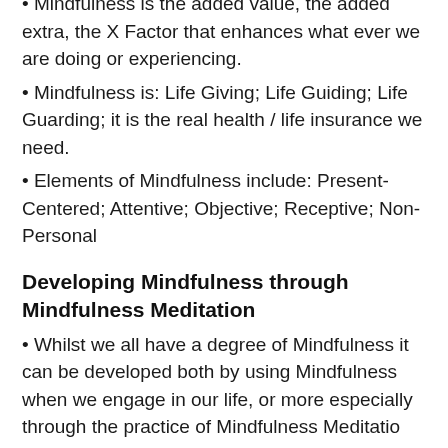Mindfulness is the added value, the added extra, the X Factor that enhances what ever we are doing or experiencing.
Mindfulness is: Life Giving; Life Guiding; Life Guarding; it is the real health / life insurance we need.
Elements of Mindfulness include: Present-Centered; Attentive; Objective; Receptive; Non-Personal
Developing Mindfulness through Mindfulness Meditation
Whilst we all have a degree of Mindfulness it can be developed both by using Mindfulness when we engage in our life, or more especially through the practice of Mindfulness Meditation.